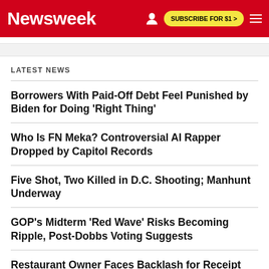Newsweek | SUBSCRIBE FOR $1 >
LATEST NEWS
Borrowers With Paid-Off Debt Feel Punished by Biden for Doing 'Right Thing'
Who Is FN Meka? Controversial AI Rapper Dropped by Capitol Records
Five Shot, Two Killed in D.C. Shooting; Manhunt Underway
GOP's Midterm 'Red Wave' Risks Becoming Ripple, Post-Dobbs Voting Suggests
Restaurant Owner Faces Backlash for Receipt 'Propaganda' About 'Surcharge'